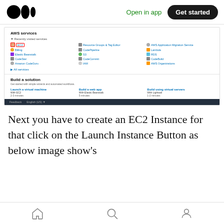Open in app | Get started
[Figure (screenshot): AWS Management Console screenshot showing AWS services panel with Recently visited services including EC2 (highlighted with red border), Resource Groups & Tag Editor, AWS Application Migration Service, Billing, CodePipeline, Lambda, Elastic Beanstalk, S3, RDS, CodeStar, CodeCommit, CodeBuild, Amazon CodeGuru, IAM, AWS Organizations, All services link; and Build a solution section with Launch a virtual machine (With EC2, 2-3 minutes), Build a web app (With Elastic Beanstalk, 5 minutes), Build using virtual servers (With Lightsail, 1-2 minutes). Footer bar showing Feedback and English (US) options.]
Next you have to create an EC2 Instance for that click on the Launch Instance Button as below image show’s
Home | Search | User